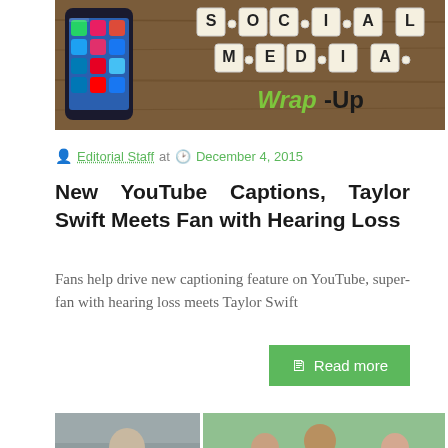[Figure (photo): Social Media Wrap-Up banner image with a smartphone showing app icons and Scrabble tiles spelling 'SOCIAL MEDIA Wrap-Up']
Editorial Staff at  December 4, 2015
New YouTube Captions, Taylor Swift Meets Fan with Hearing Loss
Fans help drive new captioning feature on YouTube, super-fan with hearing loss meets Taylor Swift
Read more
[Figure (photo): Photo collage showing a woman in a car on the left, and three young people sitting on grass on the right]